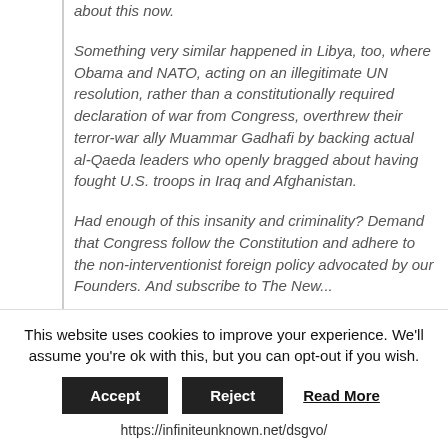about this now.
Something very similar happened in Libya, too, where Obama and NATO, acting on an illegitimate UN resolution, rather than a constitutionally required declaration of war from Congress, overthrew their terror-war ally Muammar Gadhafi by backing actual al-Qaeda leaders who openly bragged about having fought U.S. troops in Iraq and Afghanistan.
Had enough of this insanity and criminality? Demand that Congress follow the Constitution and adhere to the non-interventionist foreign policy advocated by our Founders. And subscribe to The New...
This website uses cookies to improve your experience. We'll assume you're ok with this, but you can opt-out if you wish.
Accept | Reject | Read More
https://infiniteunknown.net/dsgvo/